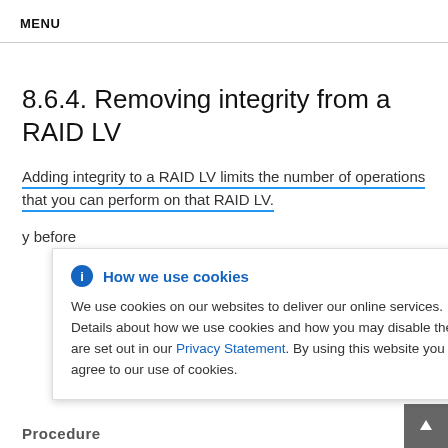MENU
8.6.4. Removing integrity from a RAID LV
Adding integrity to a RAID LV limits the number of operations that you can perform on that RAID LV.
y before
How we use cookies

We use cookies on our websites to deliver our online services. Details about how we use cookies and how you may disable them are set out in our Privacy Statement. By using this website you agree to our use of cookies.
Procedure